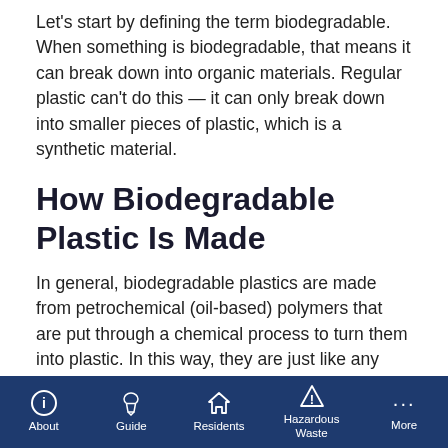Let's start by defining the term biodegradable. When something is biodegradable, that means it can break down into organic materials. Regular plastic can't do this — it can only break down into smaller pieces of plastic, which is a synthetic material.
How Biodegradable Plastic Is Made
In general, biodegradable plastics are made from petrochemical (oil-based) polymers that are put through a chemical process to turn them into plastic. In this way, they are just like any normal plastic.
However, some biodegradable plastics are made from plant-based plastics — bioplastics — or a combination of plant-based and synthetic plastics. Plant-based
About | Guide | Residents | Hazardous Waste | More